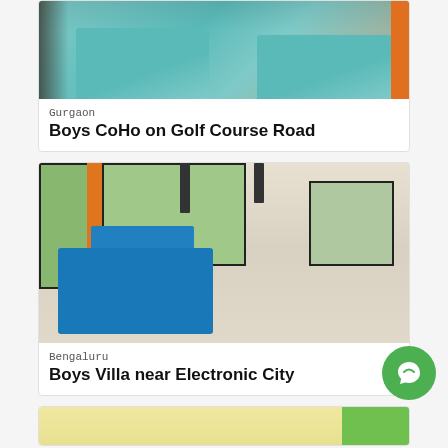[Figure (photo): Interior photo of a bedroom with two single beds with teal/turquoise bedding and a dark orange curtain on the right.]
Gurgaon
Boys CoHo on Golf Course Road
[Figure (photo): Interior photo of a common room/lounge with a blue foosball table in the foreground, dining table and chairs, pendant lights, and large windows overlooking greenery.]
Bengaluru
Boys Villa near Electronic City
[Figure (photo): Partial interior photo showing a yellow wall with colorful vertical stripes (green).]